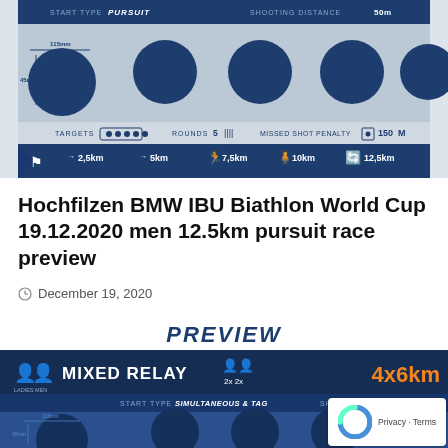[Figure (infographic): Biathlon pursuit race format infographic showing START TYPE: PURSUIT, SHOOTING DISTANCE: 50m, 5 target circles, ROUNDS 5, MISSED SHOT PENALTY 150m, and a progress bar showing distances: 2.5km, 5km, 7.5km, 10km, 12.5km]
Hochfilzen BMW IBU Biathlon World Cup 19.12.2020 men 12.5km pursuit race preview
December 19, 2020
[Figure (infographic): PREVIEW label followed by Mixed Relay race format infographic showing MIXED RELAY, LADIES MEN, 2x 2x, 4x6km, START TYPE: SIMULTANEOUS & TAG, SHOOTING DISTANCE partially visible, and target circles]